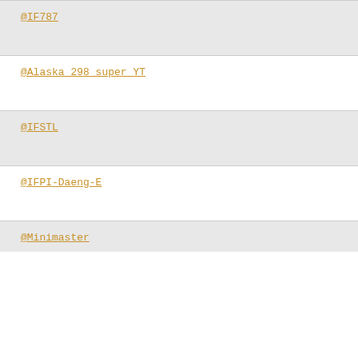@IF787
@Alaska_298_super_YT
@IFSTL
@IFPI-Daeng-E
@Minimaster